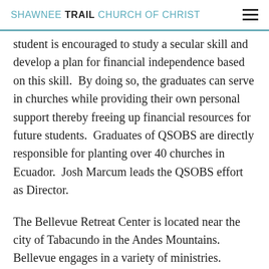SHAWNEE TRAIL CHURCH OF CHRIST
student is encouraged to study a secular skill and develop a plan for financial independence based on this skill.  By doing so, the graduates can serve in churches while providing their own personal support thereby freeing up financial resources for future students.  Graduates of QSOBS are directly responsible for planting over 40 churches in Ecuador.  Josh Marcum leads the QSOBS effort as Director.
The Bellevue Retreat Center is located near the city of Tabacundo in the Andes Mountains.  Bellevue engages in a variety of ministries.  Throughout the school year, Bellevue conducts an after-school program for local students providing them with a safe environment and basic spiritual training.  Bellevue also accommodates conferences and retreats for church leaders